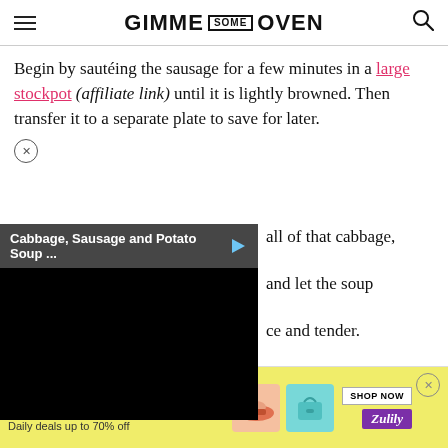GIMME SOME OVEN
Begin by sautéing the sausage for a few minutes in a large stockpot (affiliate link) until it is lightly browned. Then transfer it to a separate plate to save for later.
[Figure (screenshot): Embedded video player showing 'Cabbage, Sausage and Potato Soup ...' with black video area and play button icon]
...all of that cabbage, and let the soup ce and tender. mmend extra black ough...
[Figure (infographic): Advertisement banner: TOP BRANDS & UNIQUE FINDS - Daily deals up to 70% off - Zulily - with product images of shoes and a turquoise purse]